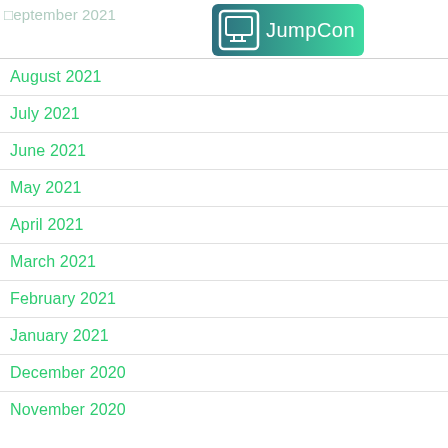September 2021
[Figure (logo): JumpCon logo — gradient teal rectangle with monitor icon and 'JumpCon' text in white]
August 2021
July 2021
June 2021
May 2021
April 2021
March 2021
February 2021
January 2021
December 2020
November 2020